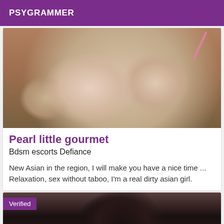PSYGRAMMER
[Figure (photo): Close-up photo of a person, skin tones visible with a pink strap]
Pearl little gourmet
Bdsm escorts Defiance
New Asian in the region, I will make you have a nice time ... Relaxation, sex without taboo, I'm a real dirty asian girl.
[Figure (photo): Photo with dark hair visible, Verified badge overlay]